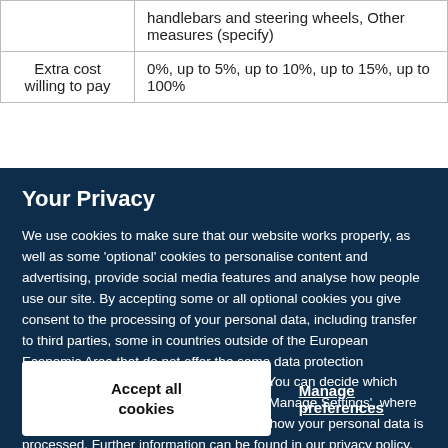|  | handlebars and steering wheels, Other measures (specify) |
| Extra cost willing to pay | 0%, up to 5%, up to 10%, up to 15%, up to 100% |
Your Privacy
We use cookies to make sure that our website works properly, as well as some 'optional' cookies to personalise content and advertising, provide social media features and analyse how people use our site. By accepting some or all optional cookies you give consent to the processing of your personal data, including transfer to third parties, some in countries outside of the European Economic Area that do not offer the same data protection standards as the country where you live. You can decide which optional cookies to accept by clicking on 'Manage Settings', where you can also find more information about how your personal data is processed. Further information can be found in our privacy policy.
Accept all cookies
Manage preferences